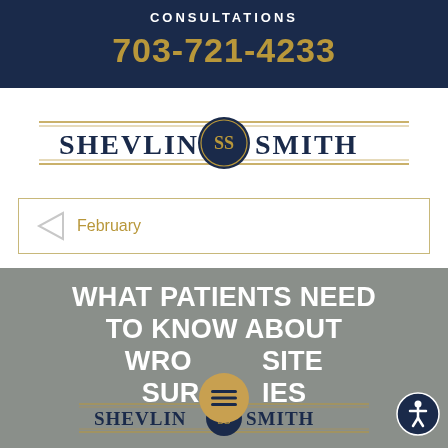CONSULTATIONS
703-721-4233
[Figure (logo): Shevlin Smith law firm logo with decorative SS emblem in center circle, navy and gold coloring with horizontal rules]
February
[Figure (screenshot): Gray image background with white bold text reading: WHAT PATIENTS NEED TO KNOW ABOUT WRONG SITE SURGERIES. Overlaid Shevlin Smith logo, hamburger menu icon, and accessibility icon at bottom right.]